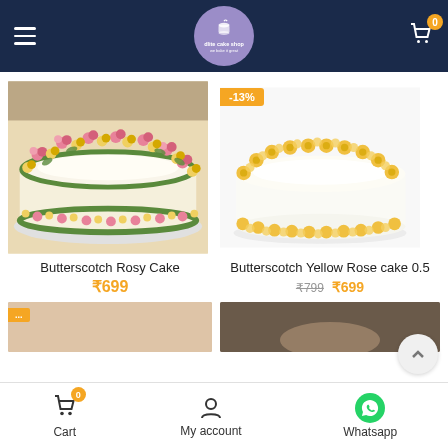Dlite Cake Shop — navigation header with logo, hamburger menu, and cart (0 items)
[Figure (photo): Butterscotch Rosy Cake — round cake decorated with pink and yellow cream flowers and green piping on a white plate]
Butterscotch Rosy Cake
₹699
[Figure (photo): Butterscotch Yellow Rose cake 0.5 — round white cake decorated with yellow cream rosettes, with -13% discount badge]
Butterscotch Yellow Rose cake 0.5
₹799 ₹699
Cart 0 | My account | Whatsapp